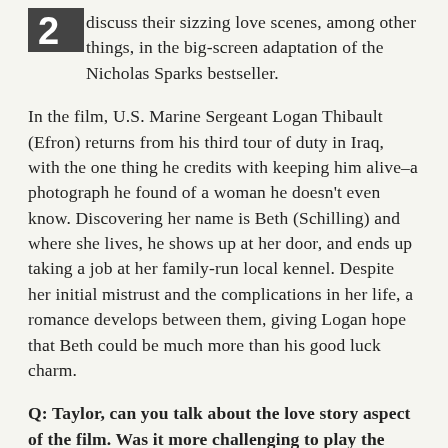discuss their sizzing love scenes, among other things, in the big-screen adaptation of the Nicholas Sparks bestseller.
In the film, U.S. Marine Sergeant Logan Thibault (Efron) returns from his third tour of duty in Iraq, with the one thing he credits with keeping him alive–a photograph he found of a woman he doesn't even know. Discovering her name is Beth (Schilling) and where she lives, he shows up at her door, and ends up taking a job at her family-run local kennel. Despite her initial mistrust and the complications in her life, a romance develops between them, giving Logan hope that Beth could be much more than his good luck charm.
Q: Taylor, can you talk about the love story aspect of the film. Was it more challenging to play the